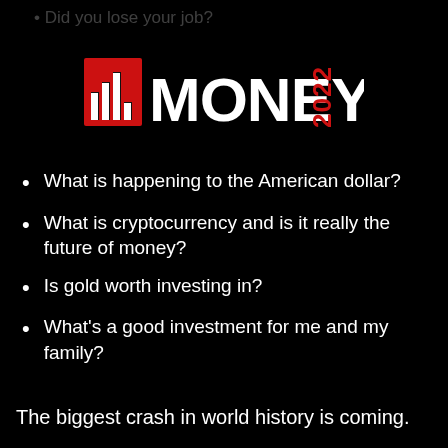Did you lose your job?
[Figure (logo): MONEY 2022 logo with red bar chart icon on left, white bold MONEY text, and red 2022 in stylized rotated font on right]
What is happening to the American dollar?
What is cryptocurrency and is it really the future of money?
Is gold worth investing in?
What's a good investment for me and my family?
The biggest crash in world history is coming.